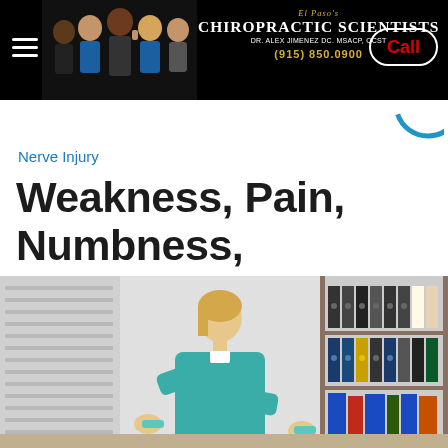El Paso's Chiropractic Scientists Dr. Alex Jimenez DC. MSACP, CCST (915) 850.0900 Call
Nerve Injury
Weakness, Pain, Numbness, Radiculopathy, and Chiropractic
[Figure (photo): Healthcare professional in teal scrubs leaning over a patient, with a bookshelf of binders in the background and a clock on the wall]